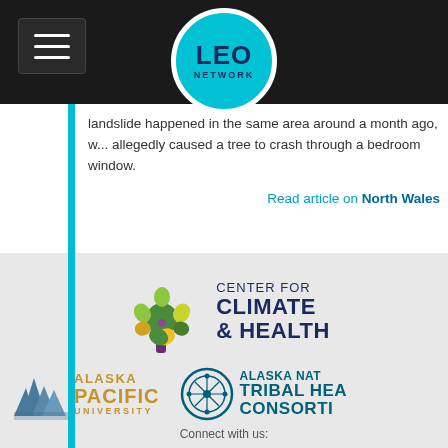LEO NETWORK
landslide happened in the same area around a month ago, w... allegedly caused a tree to crash through a bedroom window.
Read article on North Wales
Please forward this newsletter or share it on social media. Join the LEO Network to share your own stories of environmental change.
[Figure (logo): Center for Climate & Health logo with tree icon]
[Figure (logo): Alaska Pacific University logo with mountain peaks icon]
[Figure (logo): Alaska Native Tribal Health Consortium logo with circular ornament]
Connect with us: